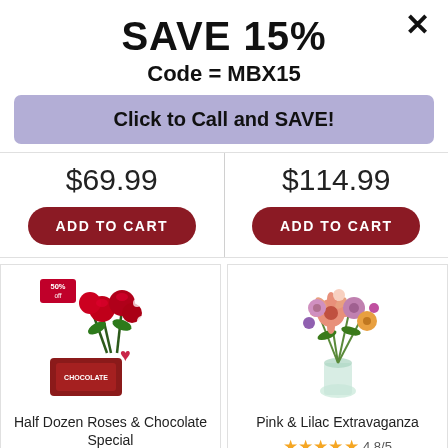SAVE 15%
Code = MBX15
Click to Call and SAVE!
$69.99
ADD TO CART
$114.99
ADD TO CART
[Figure (photo): Half Dozen Roses & Chocolate Special product image with 50% off badge]
Half Dozen Roses & Chocolate Special
4.7/5
[Figure (photo): Pink & Lilac Extravaganza flower bouquet product image]
Pink & Lilac Extravaganza
4.8/5